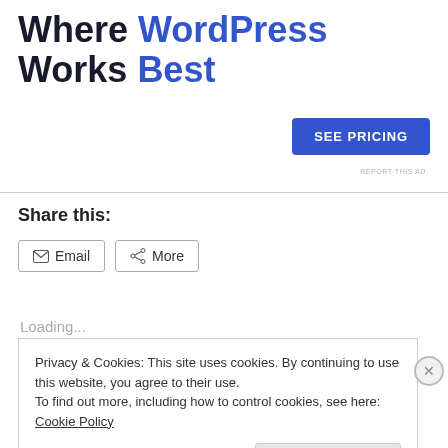Where WordPress Works Best
[Figure (other): SEE PRICING button (blue rectangle with white bold text)]
REPORT THIS AD
Share this:
[Figure (other): Email share button with envelope icon]
[Figure (other): More share button with share icon]
Loading...
Privacy & Cookies: This site uses cookies. By continuing to use this website, you agree to their use.
To find out more, including how to control cookies, see here: Cookie Policy
Close and accept